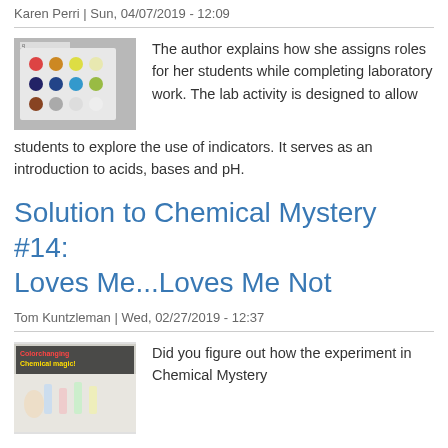Karen Perri | Sun, 04/07/2019 - 12:09
[Figure (photo): Photo of a laboratory well plate with colored chemical spots in various colors including red, blue, green, yellow arranged in a grid pattern.]
The author explains how she assigns roles for her students while completing laboratory work. The lab activity is designed to allow students to explore the use of indicators. It serves as an introduction to acids, bases and pH.
Solution to Chemical Mystery #14: Loves Me...Loves Me Not
Tom Kuntzleman | Wed, 02/27/2019 - 12:37
[Figure (photo): Thumbnail image with text 'Color-changing Chemical magic!' showing an experiment with test tubes or vials.]
Did you figure out how the experiment in Chemical Mystery